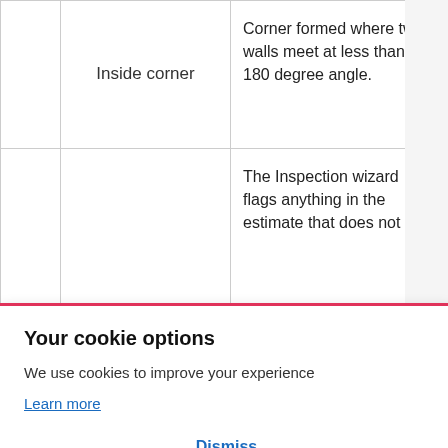|  | Inside corner | Corner formed where two walls meet at less than a 180 degree angle. |
|  |  | The Inspection wizard flags anything in the estimate that does not... |
Your cookie options
We use cookies to improve your experience
Learn more
Dismiss